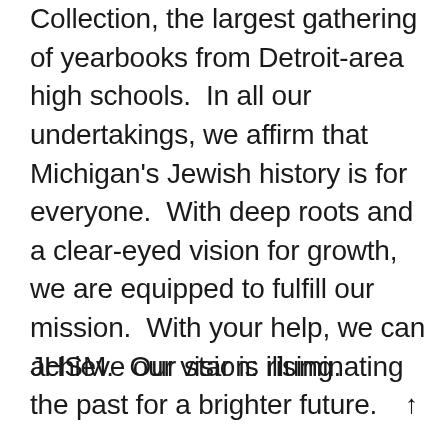We also maintain the Jewish Yearbook Collection, the largest gathering of yearbooks from Detroit-area high schools.  In all our undertakings, we affirm that Michigan's Jewish history is for everyone.  With deep roots and a clear-eyed vision for growth, we are equipped to fulfill our mission.  With your help, we can achieve our vision: illuminating the past for a brighter future.
JHSM.  Our star is rising.